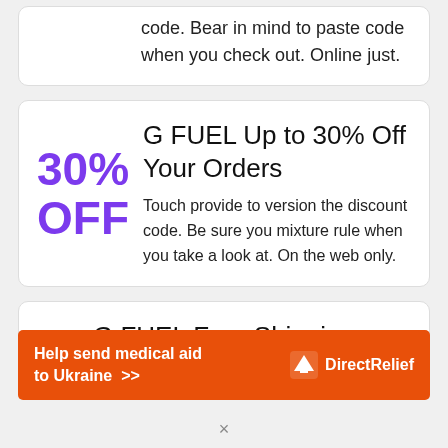code. Bear in mind to paste code when you check out. Online just.
G FUEL Up to 30% Off Your Orders
30% OFF
Touch provide to version the discount code. Be sure you mixture rule when you take a look at. On the web only.
G FUEL Free Shipping $50
[Figure (infographic): Orange Direct Relief advertisement banner: 'Help send medical aid to Ukraine >>' with Direct Relief logo on the right]
×